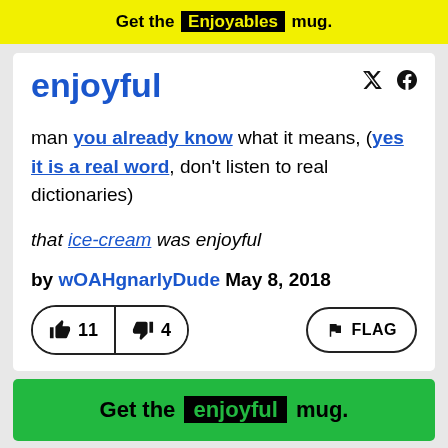Get the Enjoyables mug.
enjoyful
man you already know what it means, (yes it is a real word, don't listen to real dictionaries)
that ice-cream was enjoyful
by wOAHgnarlyDude May 8, 2018
👍 11   👎 4   FLAG
Get the enjoyful mug.